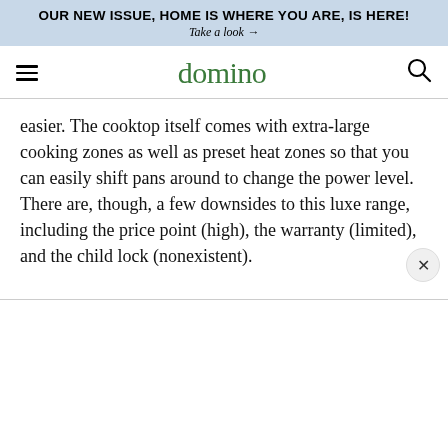OUR NEW ISSUE, HOME IS WHERE YOU ARE, IS HERE!
Take a look →
domino
easier. The cooktop itself comes with extra-large cooking zones as well as preset heat zones so that you can easily shift pans around to change the power level. There are, though, a few downsides to this luxe range, including the price point (high), the warranty (limited), and the child lock (nonexistent).